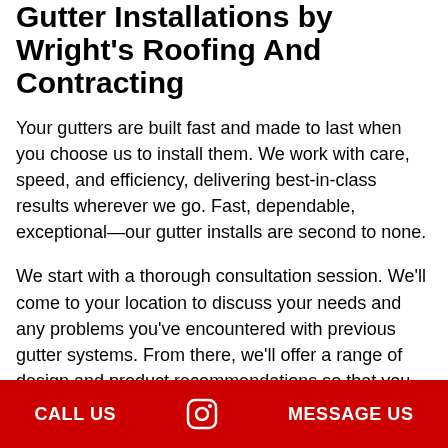Gutter Installations by Wright's Roofing And Contracting
Your gutters are built fast and made to last when you choose us to install them. We work with care, speed, and efficiency, delivering best-in-class results wherever we go. Fast, dependable, exceptional—our gutter installs are second to none.
We start with a thorough consultation session. We'll come to your location to discuss your needs and any problems you've encountered with previous gutter systems. From there, we'll offer a range of design and product recommendations so that you can get the most out of our services. We'll then take precise measurements of the perimeter of your roof, taking the time to specially fit our
CALL US   [Instagram icon]   MESSAGE US